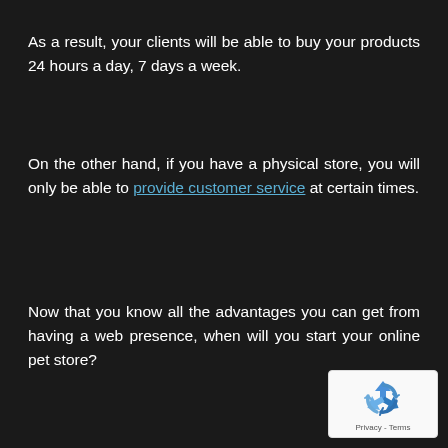As a result, your clients will be able to buy your products 24 hours a day, 7 days a week.
On the other hand, if you have a physical store, you will only be able to provide customer service at certain times.
Now that you know all the advantages you can get from having a web presence, when will you start your online pet store?
[Figure (logo): reCAPTCHA badge with recycling-arrow logo icon and Privacy - Terms text]